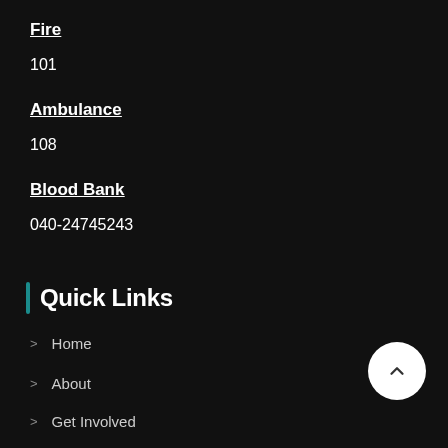Fire
101
Ambulance
108
Blood Bank
040-24745243
Quick Links
Home
About
Get Involved
Focus Areas